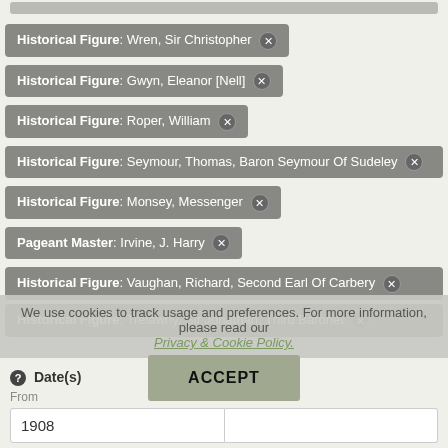Historical Figure: Wren, Sir Christopher ✕
Historical Figure: Gwyn, Eleanor [Nell] ✕
Historical Figure: Roper, William ✕
Historical Figure: Seymour, Thomas, Baron Seymour Of Sudeley ✕
Historical Figure: Monsey, Messenger ✕
Pageant Master: Irvine, J. Harry ✕
Historical Figure: Vaughan, Richard, Second Earl Of Carbery ✕
Historical Figure: Trelawny, Sir Jonathan, Third Baronet ✕
We use cookies to track usage and preferences. For more information, please read our Privacy & Cookie Policy.
Date(s)
From
To
1908
ACCEPT